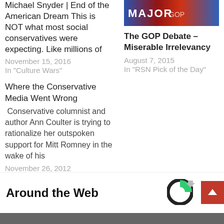Michael Snyder | End of the American Dream This is NOT what most social conservatives were expecting. Like millions of
November 15, 2016
In "Culture Wars"
[Figure (photo): GOP debate image with red and blue patriotic colors]
The GOP Debate – Miserable Irrelevancy
August 7, 2015
In "RSN Pick of the Day"
Where the Conservative Media Went Wrong
Conservative columnist and author Ann Coulter is trying to rationalize her outspoken support for Mitt Romney in the wake of his
November 26, 2012
In "US Opinion and Editorial"
Around the Web
[Figure (logo): Circular logo with black and green segments]